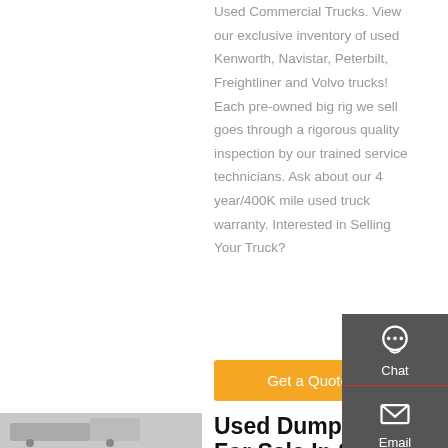Used Commercial Trucks. View our exclusive inventory of used Kenworth, Navistar, Peterbilt, Freightliner and Volvo trucks! Each pre-owned big rig we sell goes through a rigorous quality inspection by our trained service technicians. Ask about our 4 year/400K mile used truck warranty. Interested in Selling Your Truck?
[Figure (other): Orange 'Get a Quote' button]
[Figure (other): Dark gray sidebar with Chat, Email, Contact, and Top icons and labels]
[Figure (photo): Photo of a large commercial truck parked outside]
Used Dump Trucks For Sale In Sanford